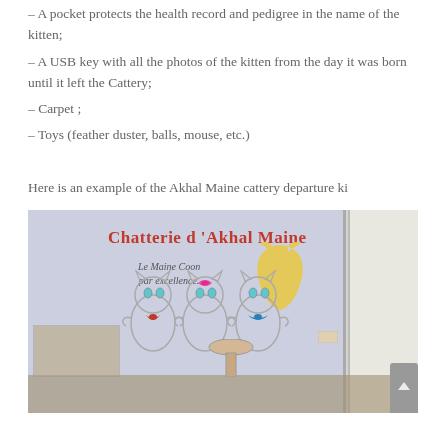– A pocket protects the health record and pedigree in the name of the kitten;
– A USB key with all the photos of the kitten from the day it was born until it left the Cattery;
– Carpet ;
– Toys (feather duster, balls, mouse, etc.)
Here is an example of the Akhal Maine cattery departure ki
[Figure (photo): Interior room photo showing a light purple/grey wall decorated with 'Chatterie d'Akhal Maine' in red text, italic subtitle 'Le Maine Coon par excellence.', a yellow cat silhouette, and cartoon cat wall stickers. On the right is a white door frame. The floor has some furniture items and a stool.]